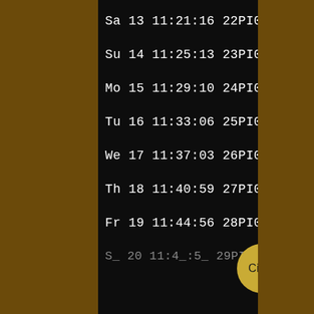[Figure (screenshot): Mobile phone screen showing a list of dated astronomical or tidal entries in monospace white text on black background. Entries: Sa 13 11:21:16 22PI07, Su 14 11:25:13 23PI07, Mo 15 11:29:10 24PI07, Tu 16 11:33:06 25PI07, We 17 11:37:03 26PI06, Th 18 11:40:59 27PI06, Fr 19 11:44:56 28PI06, and a partially visible entry at the bottom. A gold Cimo badge appears at the bottom right.]